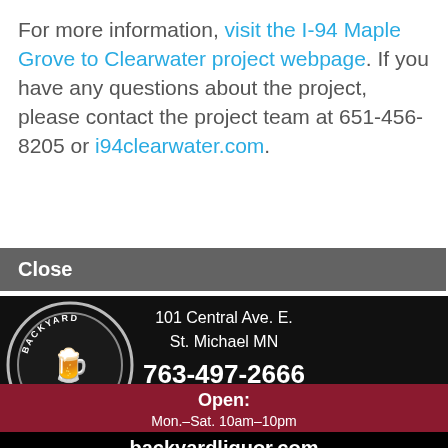For more information, visit the I-94 Maple Grove to Clearwater project webpage. If you have any questions about the project, please contact the project team at 651-456-8205 or i94clearwater.com.
[Figure (illustration): Advertisement for Backyard Liquor: logo, address 101 Central Ave. E. St. Michael MN, phone 763-497-2666, photo of staff, 'Locally owned and operated', hours Mon.-Sat. 10am-10pm Sunday 11am-6pm, website backyardliquor.com, Follow us on Facebook]
Close
NSION, INTERSTATE 94, ROAD
[Figure (logo): ArtisticMe logo - where creativity is fun!]
our own pottery,